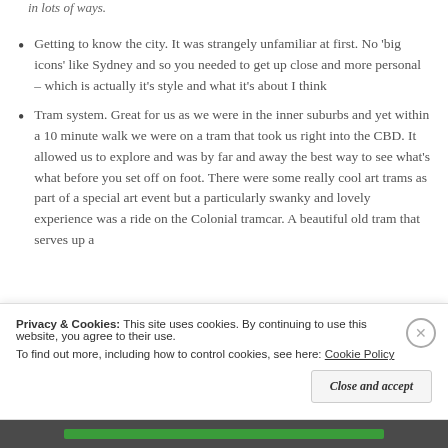in lots of ways.
Getting to know the city. It was strangely unfamiliar at first. No 'big icons' like Sydney and so you needed to get up close and more personal – which is actually it's style and what it's about I think
Tram system. Great for us as we were in the inner suburbs and yet within a 10 minute walk we were on a tram that took us right into the CBD. It allowed us to explore and was by far and away the best way to see what's what before you set off on foot. There were some really cool art trams as part of a special art event but a particularly swanky and lovely experience was a ride on the Colonial tramcar. A beautiful old tram that serves up a
Privacy & Cookies: This site uses cookies. By continuing to use this website, you agree to their use.
To find out more, including how to control cookies, see here: Cookie Policy
Close and accept